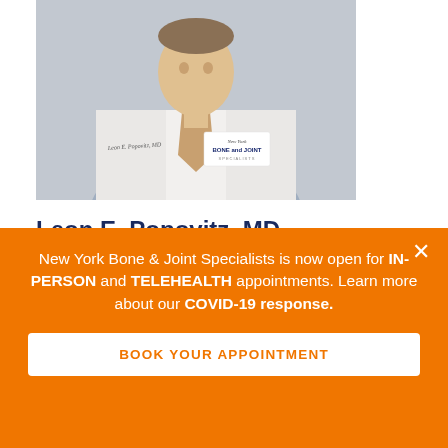[Figure (photo): Headshot of Dr. Leon E. Popovitz, MD, wearing a white lab coat with 'New York Bone and Joint Specialists' name badge and a tie, against a neutral background.]
Leon E. Popovitz, MD
Co-founder of New York Bone & Joint Specialists
Best-Rated NYC Orthopedic Surgeon
Top Shoulder & Knee Orthopedic Surgeon
Arthroscopic Surgery & Sports Medicine
New York Bone & Joint Specialists is now open for IN-PERSON and TELEHEALTH appointments. Learn more about our COVID-19 response.
BOOK YOUR APPOINTMENT